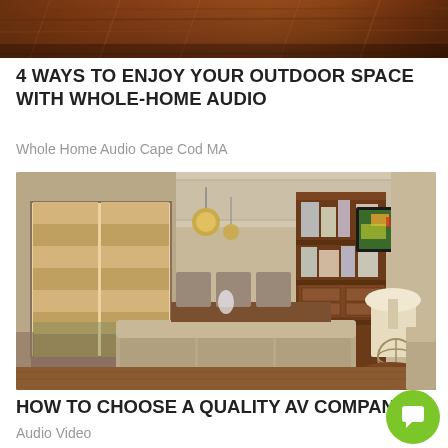[Figure (photo): Partial view of a wooden railing or staircase with warm tones, cropped at top of page.]
4 WAYS TO ENJOY YOUR OUTDOOR SPACE WITH WHOLE-HOME AUDIO
Whole Home Audio Cape Cod MA
[Figure (photo): Interior living/dining room with neutral tones, woven roman shades on large windows, a wall-mounted TV showing food, a pendant chandelier, bookshelf, sofa, dining table and chairs, table lamp, and decorative sphere.]
HOW TO CHOOSE A QUALITY AV COMPANY
Audio Video